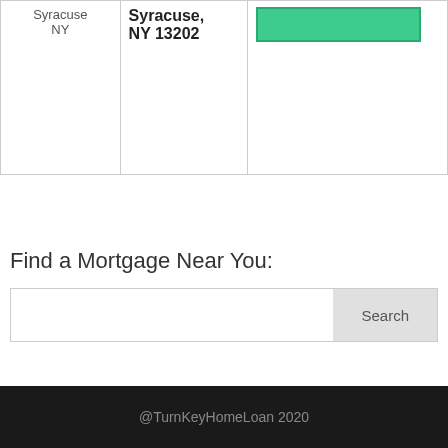| Syracuse NY | Syracuse, NY 13202 | (green button) |
Find a Mortgage Near You:
[Figure (screenshot): Search bar with text input and Search button]
@TurnKeyHomeLoan 2020